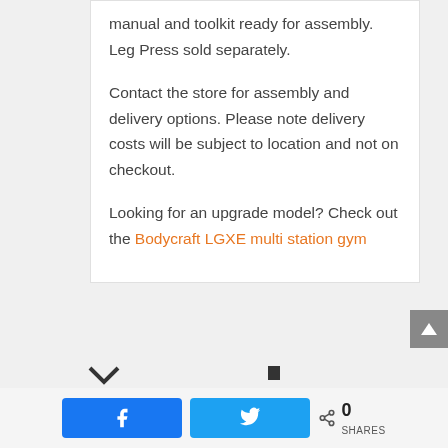manual and toolkit ready for assembly. Leg Press sold separately.
Contact the store for assembly and delivery options. Please note delivery costs will be subject to location and not on checkout.
Looking for an upgrade model? Check out the Bodycraft LGXE multi station gym
[Figure (screenshot): Social share bar with Facebook and Twitter buttons and share count of 0]